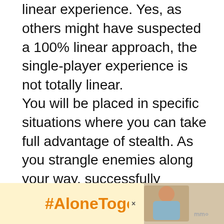linear experience. Yes, as others might have suspected a 100% linear approach, the single-player experience is not totally linear.
You will be placed in specific situations where you can take full advantage of stealth. As you strangle enemies along your way, successfully completing a mission without firing your blaster can give you that sense of accomplishment. You then get a chance to play other heroes aside from Iden Versio, especially from the opposing team. Don't expect that you'll be walking in your TIE Fighter Pilot suit throughout the game as it su... not ex...
[Figure (other): Advertisement banner with '#AloneTogether' text in orange on yellow background, with a person image on the right side and a close button]